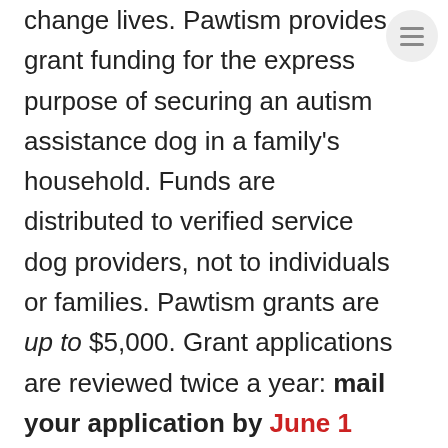change lives. Pawtism provides grant funding for the express purpose of securing an autism assistance dog in a family's household. Funds are distributed to verified service dog providers, not to individuals or families. Pawtism grants are up to $5,000. Grant applications are reviewed twice a year: mail your application by June 1 (decisions by the end of July) or December 1 (decisions by the end of January).